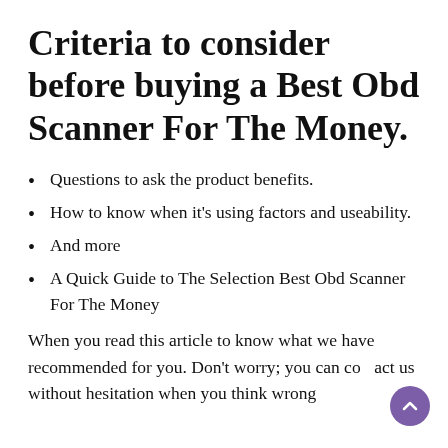Criteria to consider before buying a Best Obd Scanner For The Money.
Questions to ask the product benefits.
How to know when it's using factors and useability.
And more
A Quick Guide to The Selection Best Obd Scanner For The Money
When you read this article to know what we have recommended for you. Don't worry; you can contact us without hesitation when you think wrong